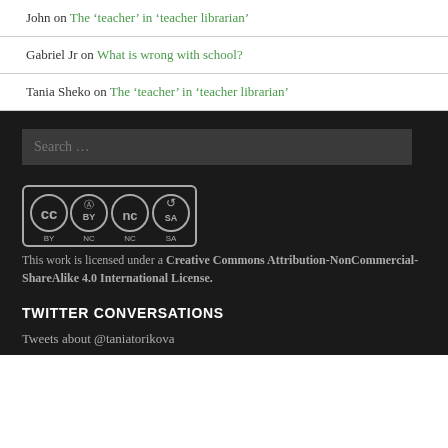John on The 'teacher' in 'teacher librarian'
Gabriel Jr on What is wrong with school?
Tania Sheko on The 'teacher' in 'teacher librarian'
Search …
[Figure (logo): Creative Commons BY NC SA license badge with four circular icons]
This work is licensed under a Creative Commons Attribution-NonCommercial-ShareAlike 4.0 International License.
TWITTER CONVERSATIONS
Tweets about @taniatorikova